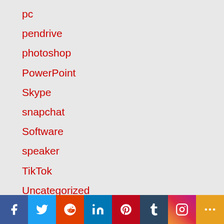pc
pendrive
photoshop
PowerPoint
Skype
snapchat
Software
speaker
TikTok
Uncategorized
VLC
WhataApp
WhatsApp
[Figure (infographic): Social media sharing bar with icons for Facebook, Twitter, Reddit, LinkedIn, Pinterest, Tumblr, Instagram, and More]